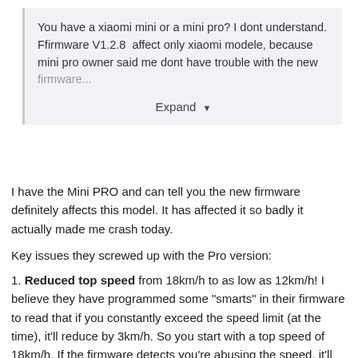You have a xiaomi mini or a mini pro? I dont understand. Ffirmware V1.2.8  affect only xiaomi modele, because mini pro owner said me dont have trouble with the new firmware...
Expand
I have the Mini PRO and can tell you the new firmware definitely affects this model. It has affected it so badly it actually made me crash today.
Key issues they screwed up with the Pro version:
1. Reduced top speed from 18km/h to as low as 12km/h! I believe they have programmed some "smarts" in their firmware to read that if you constantly exceed the speed limit (at the time), it'll reduce by 3km/h. So you start with a top speed of 18km/h. If the firmware detects you're abusing the speed, it'll reduce by 3km/h to 15km/r. If you abuse 15km/h, it'll reduce to 12km/h. If you keep forcing the speed it'll lean back so far you'll simply fall off!